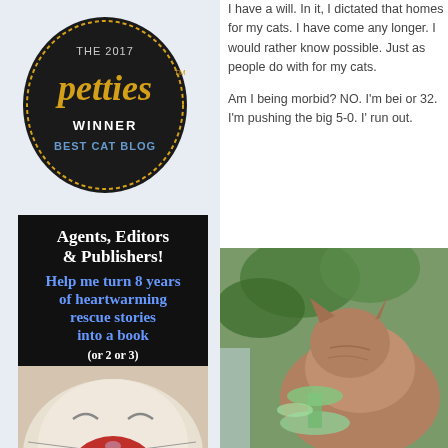[Figure (logo): Petties award badge - circular black badge with dotted gold border, text 'THE 2017 petties WINNER BEST CAT BLOG']
[Figure (photo): Advertisement image with black background showing text 'Agents, Editors & Publishers! Help me turn 8 years of heartwarming rescue stories into a book (or 2 or 3)' above a photo of a cat yawning with mouth wide open]
I have a will. In it, I dictated that homes for my cats. I have come any longer. I would rather know possible. Just as people do with for my cats.
Am I being morbid? NO. I'm bei or 32. I'm pushing the big 5-0. I' run out.
[Figure (photo): Photo of a cat resting near a green glass bowl among plant leaves, with a cat tree visible]